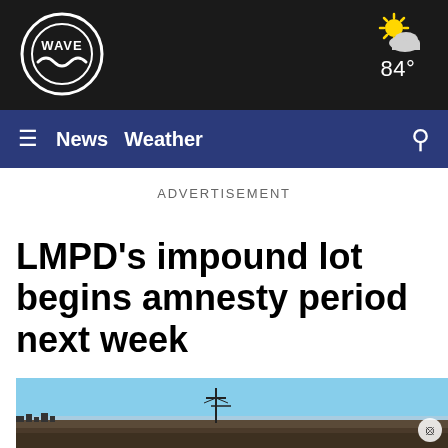WAVE — Navigation bar with News, Weather links and weather widget showing 84°
ADVERTISEMENT
LMPD's impound lot begins amnesty period next week
[Figure (photo): Aerial or wide landscape photo of an open field/lot area with a power transmission tower visible, under a clear blue sky, likely the LMPD impound lot location.]